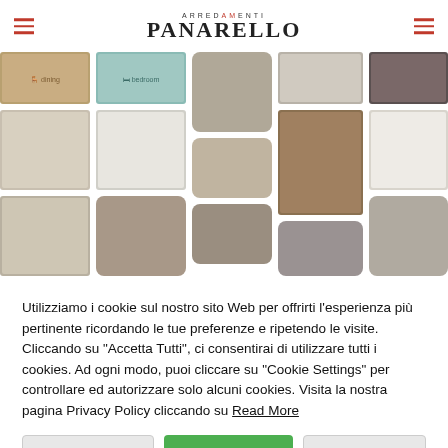ARREDAMENTI PANARELLO
[Figure (photo): Collage of furniture room photos and color swatches in beige, taupe, grey tones showing bedroom, living room, and dining room furniture arrangements from Arredamenti Panarello]
Utilizziamo i cookie sul nostro sito Web per offrirti l'esperienza più pertinente ricordando le tue preferenze e ripetendo le visite. Cliccando su "Accetta Tutti", ci consentirai di utilizzare tutti i cookies. Ad ogni modo, puoi cliccare su "Cookie Settings" per controllare ed autorizzare solo alcuni cookies. Visita la nostra pagina Privacy Policy cliccando su Read More
Cookie Settings | Accetta tutto | Rifiuta tutto